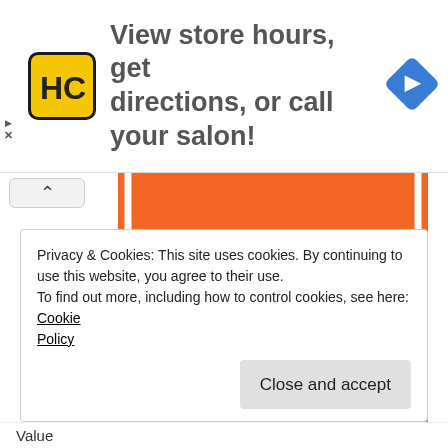[Figure (infographic): Advertisement banner: HC (Hair Club) yellow logo on left, text 'View store hours, get directions, or call your salon!' in center, blue navigation diamond icon on right. Small play and X controls on far left edge.]
[Figure (illustration): FEATURED GOLD AWARD badge: orange rounded rectangle background with white outlined trophy icon (gold/yellow colored trophy cup), white text 'GOLD AWARD' on the right side of the badge. Top of badge shows partial white text 'FEATURED'.]
Privacy & Cookies: This site uses cookies. By continuing to use this website, you agree to their use.
To find out more, including how to control cookies, see here: Cookie Policy
Close and accept
Value